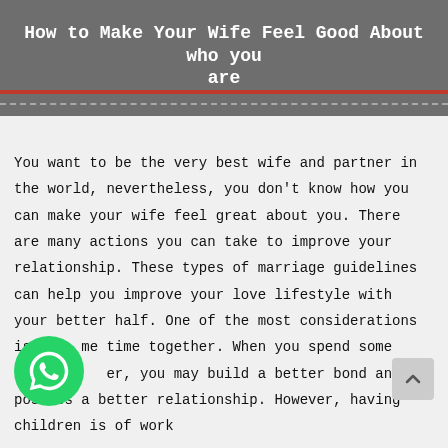How to Make Your Wife Feel Good About who you are
You want to be the very best wife and partner in the world, nevertheless, you don't know how you can make your wife feel great about you. There are many actions you can take to improve your relationship. These types of marriage guidelines can help you improve your love lifestyle with your better half. One of the most considerations is to me time together. When you spend some time to er, you may build a better bond and possess a better relationship. However, having children is of work